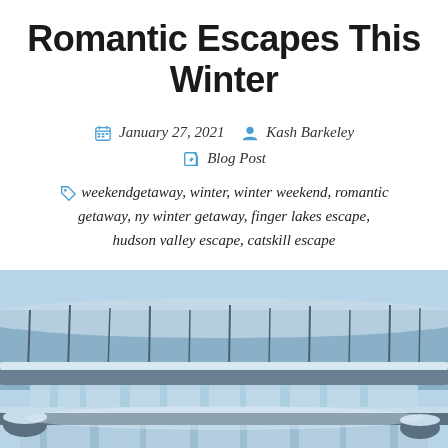Romantic Escapes This Winter
January 27, 2021  Kash Barkeley  Blog Post
weekendgetaway, winter, winter weekend, romantic getaway, ny winter getaway, finger lakes escape, hudson valley escape, catskill escape
[Figure (photo): A winter waterfall scene with cascading water over rocky ledges, surrounded by snow-covered rocks and bare winter trees in the background. The image has a cool blue tone.]